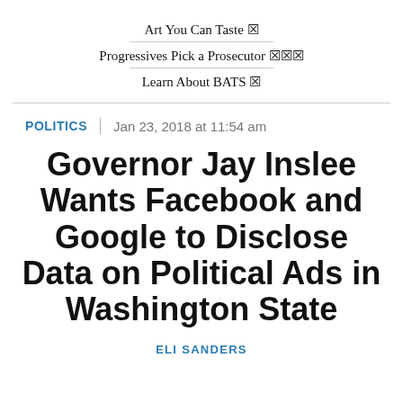Art You Can Taste ☒
Progressives Pick a Prosecutor ☒☒☒
Learn About BATS ☒
POLITICS | Jan 23, 2018 at 11:54 am
Governor Jay Inslee Wants Facebook and Google to Disclose Data on Political Ads in Washington State
ELI SANDERS